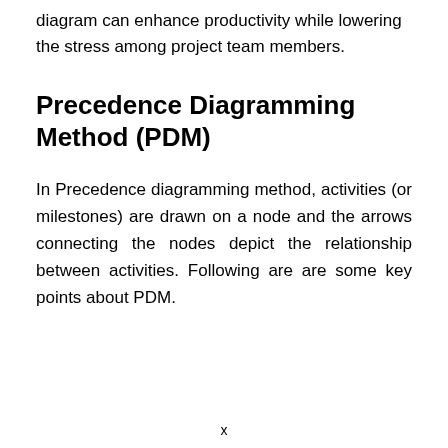diagram can enhance productivity while lowering the stress among project team members.
Precedence Diagramming Method (PDM)
In Precedence diagramming method, activities (or milestones) are drawn on a node and the arrows connecting the nodes depict the relationship between activities. Following are are some key points about PDM.
x